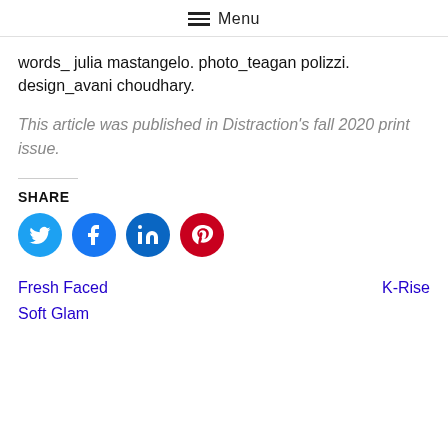Menu
words_ julia mastangelo. photo_teagan polizzi. design_avani choudhary.
This article was published in Distraction's fall 2020 print issue.
SHARE
[Figure (infographic): Social share buttons: Twitter (blue), Facebook (blue), LinkedIn (dark blue), Pinterest (red)]
Fresh Faced  K-Rise  Soft Glam